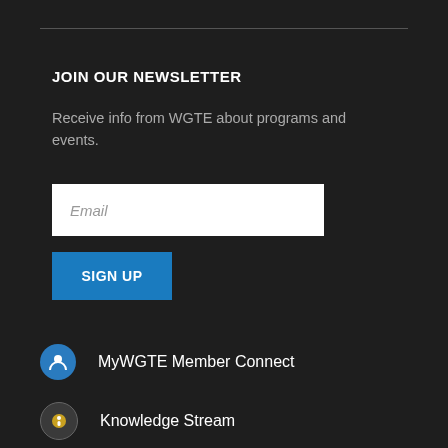JOIN OUR NEWSLETTER
Receive info from WGTE about programs and events.
[Figure (other): Email input field with placeholder text 'Email']
[Figure (other): Blue 'SIGN UP' button]
MyWGTE Member Connect
Knowledge Stream
WGTE on Facebook